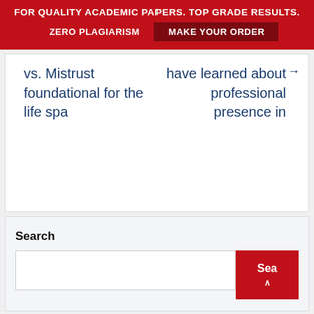FOR QUALITY ACADEMIC PAPERS. TOP GRADE RESULTS. ZERO PLAGIARISM   MAKE YOUR ORDER
vs. Mistrust foundational for the life spa
have learned about professional presence in
Search
Sea